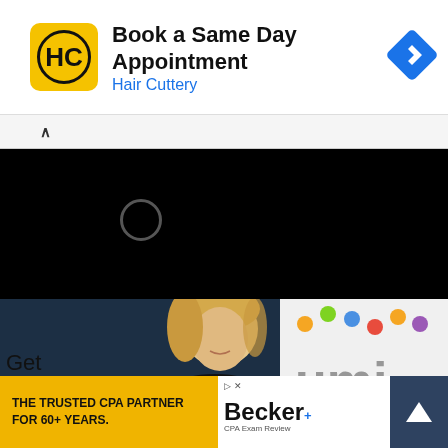[Figure (screenshot): Hair Cuttery advertisement banner with yellow square logo showing HC monogram, text 'Book a Same Day Appointment' and 'Hair Cuttery' in blue, with blue diamond navigation arrow icon on right]
[Figure (screenshot): Black video loading area with circular loading spinner]
[Figure (photo): Professional photo of a blonde woman in a black outfit with arms crossed, standing in front of a UMI branded backdrop with colorful dots logo]
[Figure (screenshot): Bottom advertisement area: yellow box with text 'THE TRUSTED CPA PARTNER FOR 60+ YEARS.' and Becker CPA Exam Review logo, with dark up-arrow scroll button]